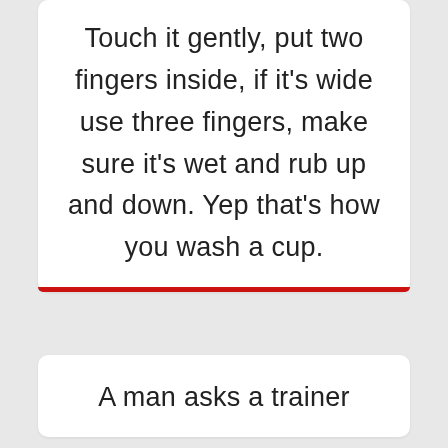Touch it gently, put two fingers inside, if it’s wide use three fingers, make sure it’s wet and rub up and down. Yep that’s how you wash a cup.
A man asks a trainer